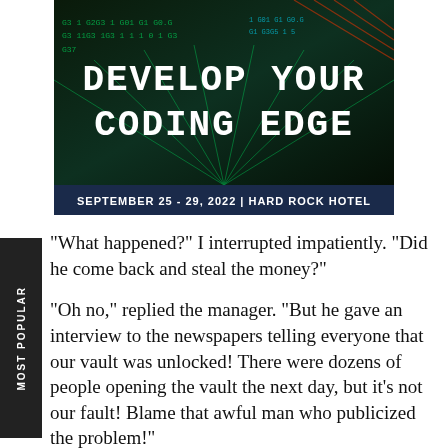[Figure (infographic): Conference banner for San Diego 2022 event with dark background showing binary code and green light streaks. Large white text reads 'DEVELOP YOUR CODING EDGE'. Bottom banner reads 'SEPTEMBER 25 - 29, 2022 | HARD ROCK HOTEL'.]
“What happened?” I interrupted impatiently. “Did he come back and steal the money?”
“Oh no,” replied the manager. “But he gave an interview to the newspapers telling everyone that our vault was unlocked! There were dozens of people opening the vault the next day, but it’s not our fault! Blame that awful man who publicized the problem!”
I stormed off, the plants remained at the